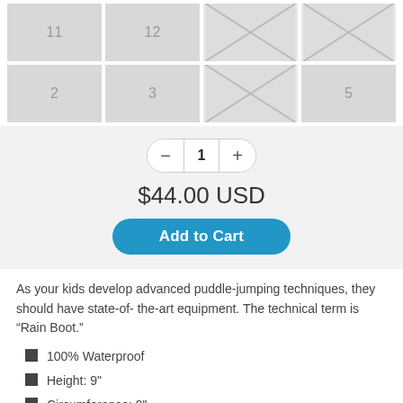[Figure (other): Grid of product thumbnail images: row 1 shows thumbnails labeled 11, 12, and two placeholder/broken image cells; row 2 shows thumbnails labeled 2, 3, one placeholder/broken image cell, and thumbnail labeled 5.]
[Figure (other): Quantity selector control showing minus button, value '1', and plus button; price '$44.00 USD'; and 'Add to Cart' blue button.]
As your kids develop advanced puddle-jumping techniques, they should have state-of- the-art equipment. The technical term is “Rain Boot.”
100% Waterproof
Height: 9"
Circumference: 9"
Lightweight puddle jumper for spring